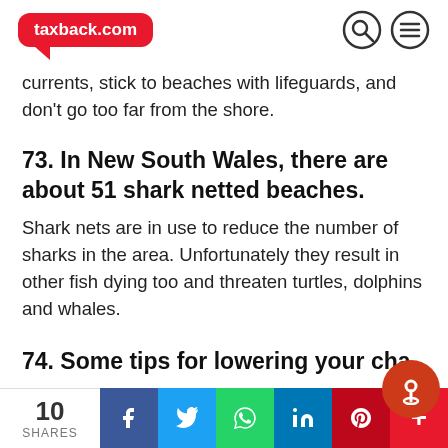taxback.com
currents, stick to beaches with lifeguards, and don't go too far from the shore.
73. In New South Wales, there are about 51 shark netted beaches.
Shark nets are in use to reduce the number of sharks in the area. Unfortunately they result in other fish dying too and threaten turtles, dolphins and whales.
74. Some tips for lowering your cha
10 SHARES